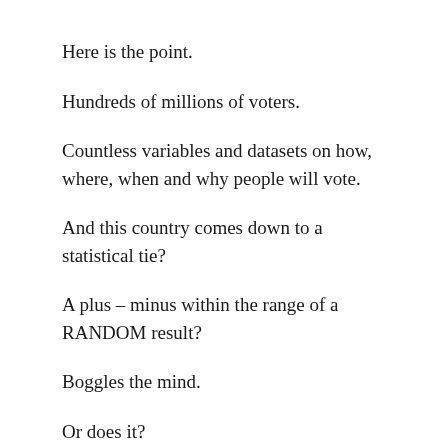Here is the point.
Hundreds of millions of voters.
Countless variables and datasets on how, where, when and why people will vote.
And this country comes down to a statistical tie?
A plus – minus within the range of a RANDOM result?
Boggles the mind.
Or does it?
John Adams of Founding Fathers fame once commented on how Americans felt about the French Revolution.